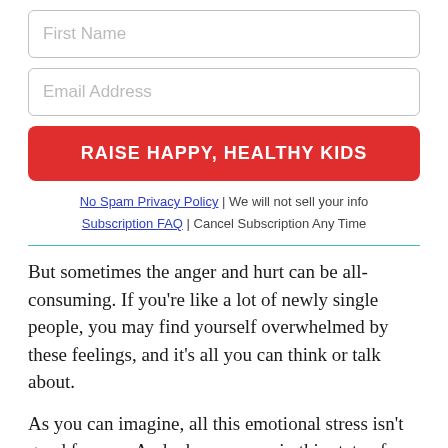[Figure (other): Form input field with placeholder text 'First Name']
[Figure (other): Form input field with placeholder text 'Email Address']
[Figure (other): Red button with text 'RAISE HAPPY, HEALTHY KIDS']
No Spam Privacy Policy | We will not sell your info
Subscription FAQ | Cancel Subscription Any Time
But sometimes the anger and hurt can be all-consuming. If you're like a lot of newly single people, you may find yourself overwhelmed by these feelings, and it's all you can think or talk about.
As you can imagine, all this emotional stress isn't good for you. And when you are in this state of overwhelm, it can be hard on your kids, too.